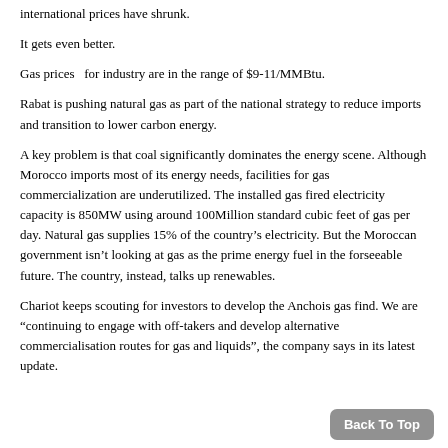international prices have shrunk.
It gets even better.
Gas prices  for industry are in the range of $9-11/MMBtu.
Rabat is pushing natural gas as part of the national strategy to reduce imports and transition to lower carbon energy.
A key problem is that coal significantly dominates the energy scene. Although Morocco imports most of its energy needs, facilities for gas commercialization are underutilized. The installed gas fired electricity capacity is 850MW using around 100Million standard cubic feet of gas per day. Natural gas supplies 15% of the country's electricity. But the Moroccan government isn't looking at gas as the prime energy fuel in the forseeable future. The country, instead, talks up renewables.
Chariot keeps scouting for investors to develop the Anchois gas find. We are “continuing to engage with off-takers and develop alternative commercialisation routes for gas and liquids”, the company says in its latest update.